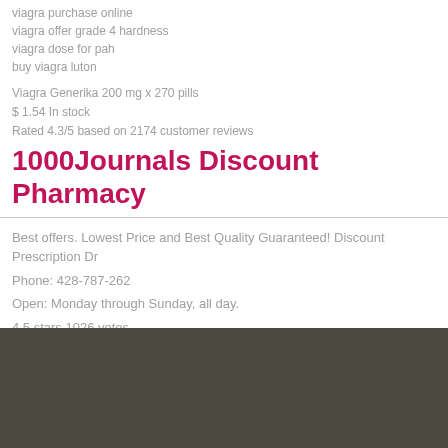viagra purchase online
viagra offer grade 4 hardness
viagra dose for pah
buy viagra luton
Viagra Generika 200 mg x 270 pills
$ 1.54 In stock
Rated 4.3/5 based on 2174 customer reviews
1000Journals Discount Pharmacy
Best offers. Lowest Price and Best Quality Guaranteed! Discount Prescription Dr
Phone: 428-787-262
Open: Monday through Sunday, all day.
4.5 stars 1026 votes
All artwork is © copyright 1000 Journals.